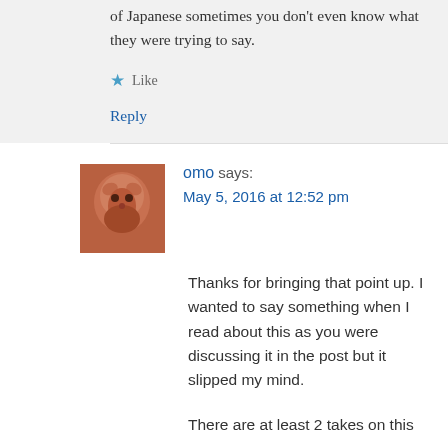of Japanese sometimes you don't even know what they were trying to say.
★ Like
Reply
omo says:
May 5, 2016 at 12:52 pm
Thanks for bringing that point up. I wanted to say something when I read about this as you were discussing it in the post but it slipped my mind.
There are at least 2 takes on this